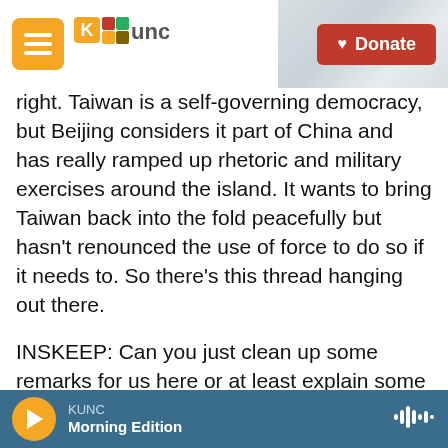KUNC — Donate
right. Taiwan is a self-governing democracy, but Beijing considers it part of China and has really ramped up rhetoric and military exercises around the island. It wants to bring Taiwan back into the fold peacefully but hasn't renounced the use of force to do so if it needs to. So there's this thread hanging out there.
INSKEEP: Can you just clean up some remarks for us here or at least explain some remarks? President Biden said yes yesterday when asked if he would get involved militarily in the event of a Chinese attack on Taiwan. That is a lot less
KUNC — Morning Edition